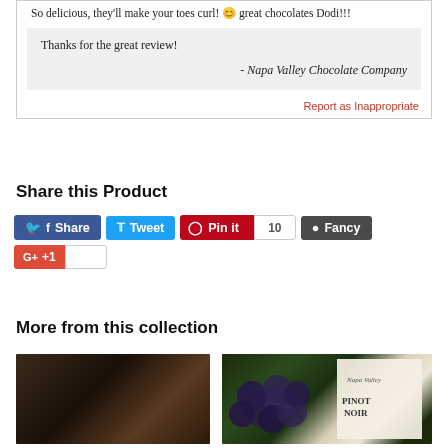So delicious, they'll make your toes curl! 😊 great chocolates Dodi!!!
Thanks for the great review!
- Napa Valley Chocolate Company
Report as Inappropriate
Share this Product
[Figure (screenshot): Social share buttons: Facebook Share, Twitter Tweet, Pinterest Pin it (10), Fancy, Google +1]
More from this collection
[Figure (photo): Product thumbnail showing dark chocolate product]
[Figure (photo): Product thumbnail showing blueberries and a wine label reading Napa Valley Pinot Noir]